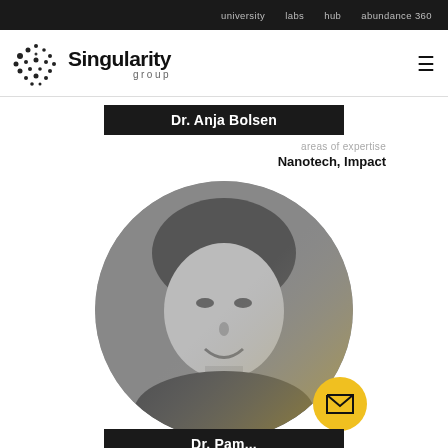university   labs   hub   abundance 360
[Figure (logo): Singularity Group logo with stylized dot-cluster icon and wordmark 'Singularity group']
Dr. Anja Bolsen
areas of expertise
Nanotech, Impact
[Figure (photo): Circular black and white portrait photo of a man with grey hair smiling, with a yellow gradient overlay on the right side]
Dr. Pam...